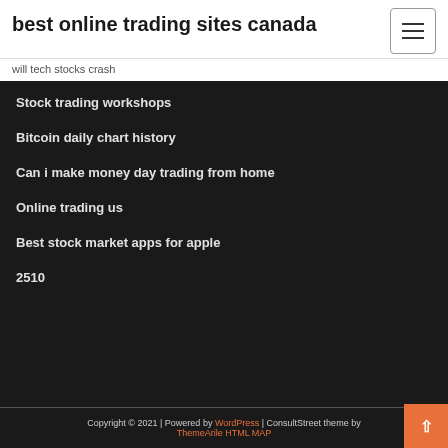best online trading sites canada
will tech stocks crash
Stock trading workshops
Bitcoin daily chart history
Can i make money day trading from home
Online trading us
Best stock market apps for apple
2510
Copyright © 2021 | Powered by WordPress | ConsultStreet theme by ThemeArile HTML MAP